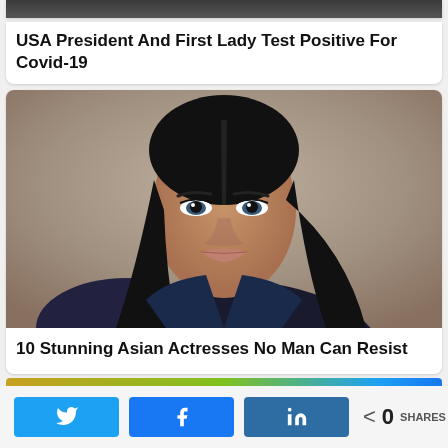[Figure (photo): Partial top image of two people in formal attire, cropped at top of page]
USA President And First Lady Test Positive For Covid-19
[Figure (photo): Portrait photo of a young woman with dark hair and striking features against a neutral background]
10 Stunning Asian Actresses No Man Can Resist
< 0 SHARES